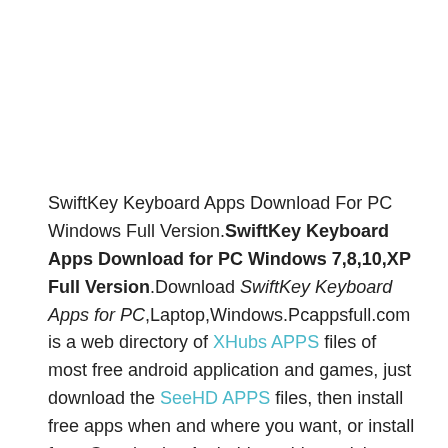SwiftKey Keyboard Apps Download For PC Windows Full Version. SwiftKey Keyboard Apps Download for PC Windows 7,8,10,XP Full Version. Download SwiftKey Keyboard Apps for PC, Laptop, Windows. Pcappsfull.com is a web directory of XHubs APPS files of most free android application and games, just download the SeeHD APPS files, then install free apps when and where you want, or install from Google play. Android provides a rich android application framework that allows you to build innovative android apps and games for mobile devices in a Java language environment.

I think you will like BeeTalk APPS that will give you a fun